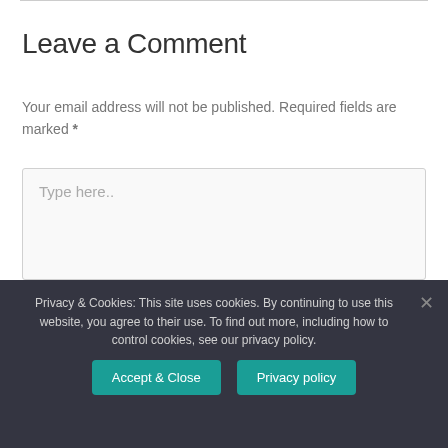Leave a Comment
Your email address will not be published. Required fields are marked *
[Figure (screenshot): A comment text area input box with placeholder text 'Type here..']
Privacy & Cookies: This site uses cookies. By continuing to use this website, you agree to their use. To find out more, including how to control cookies, see our privacy policy.
Accept & Close  Privacy policy